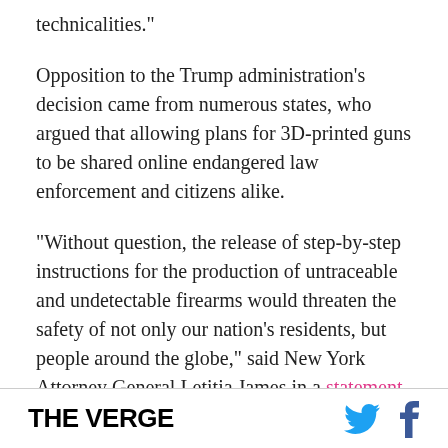technicalities."
Opposition to the Trump administration’s decision came from numerous states, who argued that allowing plans for 3D-printed guns to be shared online endangered law enforcement and citizens alike.
“Without question, the release of step-by-step instructions for the production of untraceable and undetectable firearms would threaten the safety of not only our nation’s residents, but people around the globe,” said New York Attorney General Letitia James in a statement.
THE VERGE